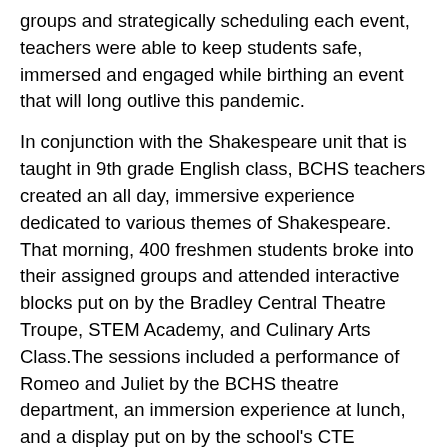groups and strategically scheduling each event, teachers were able to keep students safe, immersed and engaged while birthing an event that will long outlive this pandemic.
In conjunction with the Shakespeare unit that is taught in 9th grade English class, BCHS teachers created an all day, immersive experience dedicated to various themes of Shakespeare. That morning, 400 freshmen students broke into their assigned groups and attended interactive blocks put on by the Bradley Central Theatre Troupe, STEM Academy, and Culinary Arts Class.The sessions included a performance of Romeo and Juliet by the BCHS theatre department, an immersion experience at lunch, and a display put on by the school's CTE program that showed trebuchet and catapult demonstrations. In addition, a local dance troupe performed and taught choreography to students while highlighting themes of Shakespeare, all using a contemporary twist. Further highlighting Bradley Central High School's attention to detail was a QR code placed around campus, allowing students to scan on their devices and digitally create a selfie with the Mona Lisa.
Thank you to Bradley Central teachers and principals for your creativity, innovation and determination to make learning engaging!